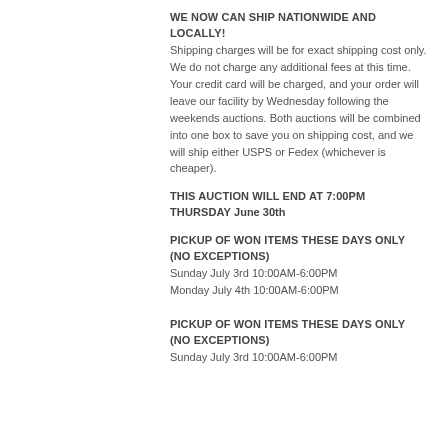WE NOW CAN SHIP NATIONWIDE AND LOCALLY!
Shipping charges will be for exact shipping cost only. We do not charge any additional fees at this time. Your credit card will be charged, and your order will leave our facility by Wednesday following the weekends auctions. Both auctions will be combined into one box to save you on shipping cost, and we will ship either USPS or Fedex (whichever is cheaper).
THIS AUCTION WILL END AT 7:00PM THURSDAY June 30th
PICKUP OF WON ITEMS THESE DAYS ONLY (NO EXCEPTIONS)
Sunday July 3rd 10:00AM-6:00PM
Monday July 4th 10:00AM-6:00PM
PICKUP OF WON ITEMS THESE DAYS ONLY (NO EXCEPTIONS)
Sunday July 3rd 10:00AM-6:00PM